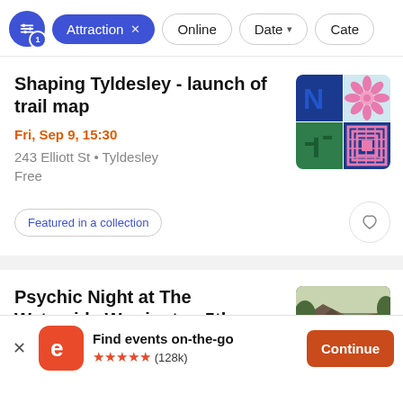Filter bar: Attraction (active), Online, Date, Cate...
Shaping Tyldesley - launch of trail map
Fri, Sep 9, 15:30
243 Elliott St • Tyldesley
Free
Featured in a collection
[Figure (illustration): Colorful tile art with flower and geometric pattern]
Psychic Night at The Waterside Warrington 5th
[Figure (photo): Exterior of building with roof and sign visible]
Find events on-the-go ★★★★★ (128k)
Continue